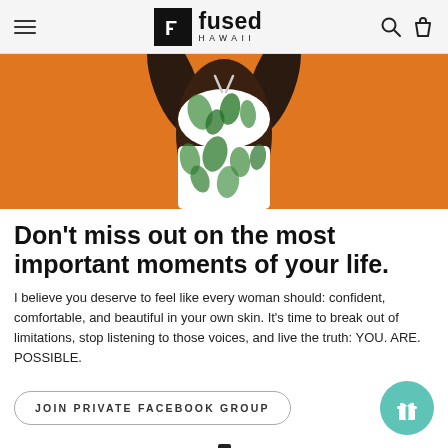Fused Hawaii — navigation bar with hamburger menu, logo, search and cart icons
[Figure (photo): Hero image showing a woman's torso in a green leaf-print bikini top against an orange background]
Don't miss out on the most important moments of your life.
I believe you deserve to feel like every woman should: confident, comfortable, and beautiful in your own skin. It's time to break out of limitations, stop listening to those voices, and live the truth: YOU. ARE. POSSIBLE.
JOIN PRIVATE FACEBOOK GROUP